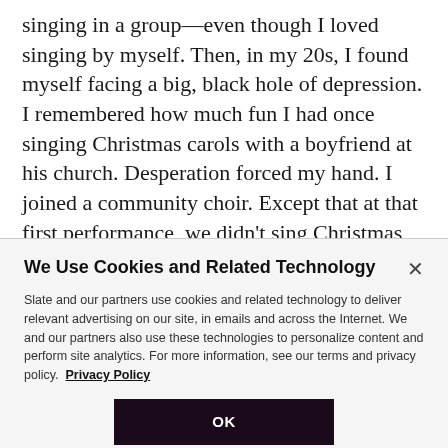singing in a group—even though I loved singing by myself. Then, in my 20s, I found myself facing a big, black hole of depression. I remembered how much fun I had once singing Christmas carols with a boyfriend at his church. Desperation forced my hand. I joined a community choir. Except that at that first performance, we didn't sing Christmas carols—we sang a piece of music that was 230 pages long: Handel's Messiah. It was
We Use Cookies and Related Technology
Slate and our partners use cookies and related technology to deliver relevant advertising on our site, in emails and across the Internet. We and our partners also use these technologies to personalize content and perform site analytics. For more information, see our terms and privacy policy. Privacy Policy